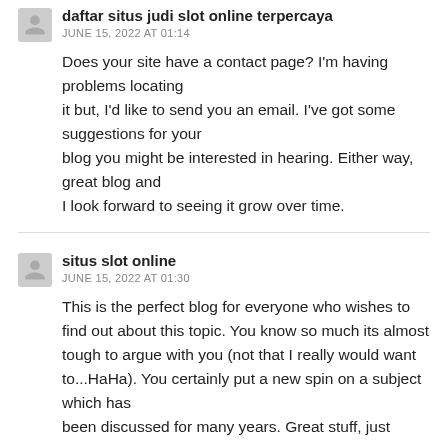daftar situs judi slot online terpercaya
JUNE 15, 2022 AT 01:14
Does your site have a contact page? I'm having problems locating it but, I'd like to send you an email. I've got some suggestions for your blog you might be interested in hearing. Either way, great blog and I look forward to seeing it grow over time.
situs slot online
JUNE 15, 2022 AT 01:30
This is the perfect blog for everyone who wishes to find out about this topic. You know so much its almost tough to argue with you (not that I really would want to...HaHa). You certainly put a new spin on a subject which has been discussed for many years. Great stuff, just